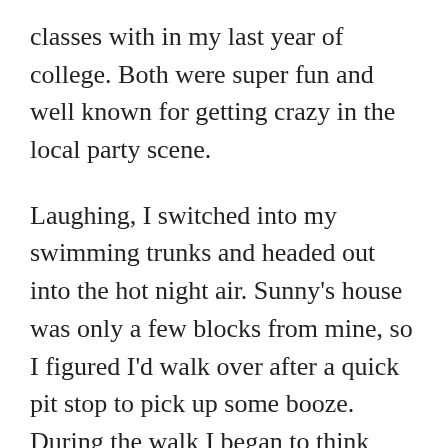classes with in my last year of college. Both were super fun and well known for getting crazy in the local party scene.
Laughing, I switched into my swimming trunks and headed out into the hot night air. Sunny's house was only a few blocks from mine, so I figured I'd walk over after a quick pit stop to pick up some booze. During the walk I began to think about watching the two of them kiss. As I got closer to the house I could feel myself getting excited. Sunny and Paula were super sexy and the idea of seeing them both in bathing suits,